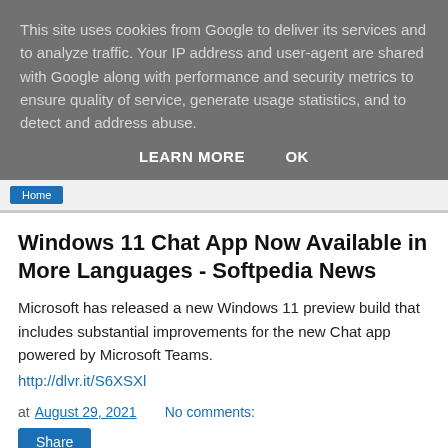This site uses cookies from Google to deliver its services and to analyze traffic. Your IP address and user-agent are shared with Google along with performance and security metrics to ensure quality of service, generate usage statistics, and to detect and address abuse.
LEARN MORE   OK
Windows 11 Chat App Now Available in More Languages - Softpedia News
Microsoft has released a new Windows 11 preview build that includes substantial improvements for the new Chat app powered by Microsoft Teams.
http://dlvr.it/S6XSXl
at August 29, 2021    No comments:
Share